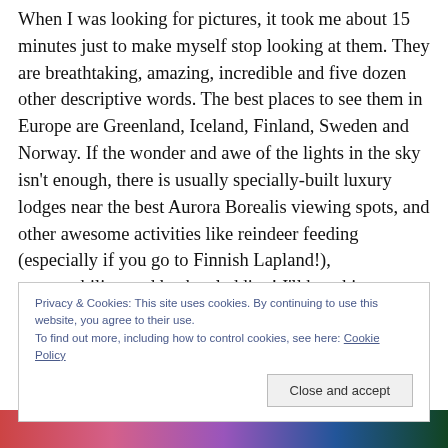When I was looking for pictures, it took me about 15 minutes just to make myself stop looking at them. They are breathtaking, amazing, incredible and five dozen other descriptive words. The best places to see them in Europe are Greenland, Iceland, Finland, Sweden and Norway. If the wonder and awe of the lights in the sky isn't enough, there is usually specially-built luxury lodges near the best Aurora Borealis viewing spots, and other awesome activities like reindeer feeding (especially if you go to Finnish Lapland!), snowmobiling and husky sledding! I'll be taking a couple of photography lessons though before I
Privacy & Cookies: This site uses cookies. By continuing to use this website, you agree to their use.
To find out more, including how to control cookies, see here: Cookie Policy
[Figure (photo): Colorful image strip at the bottom of the page showing aurora borealis colors — red, pink, purple, blue, green]